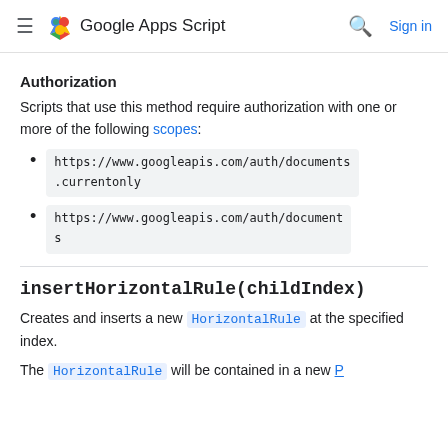Google Apps Script — Sign in
Authorization
Scripts that use this method require authorization with one or more of the following scopes:
https://www.googleapis.com/auth/documents.currentonly
https://www.googleapis.com/auth/documents
insertHorizontalRule(childIndex)
Creates and inserts a new HorizontalRule at the specified index.
The HorizontalRule will be contained in a new Paragraph.